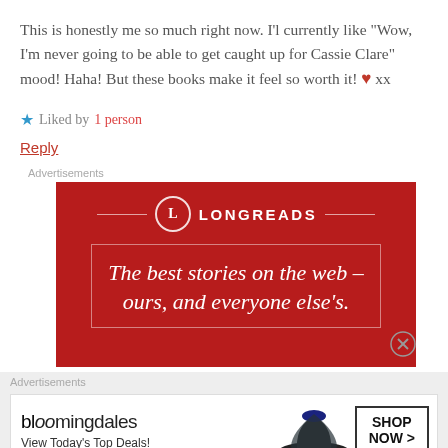This is honestly me so much right now. I'l currently like "Wow, I'm never going to be able to get caught up for Cassie Clare" mood! Haha! But these books make it feel so worth it! ❤ xx
★ Liked by 1 person
Reply
Advertisements
[Figure (other): Longreads advertisement banner in dark red with logo and tagline: The best stories on the web – ours, and everyone else's.]
Advertisements
[Figure (other): Bloomingdale's advertisement: View Today's Top Deals! with SHOP NOW button]